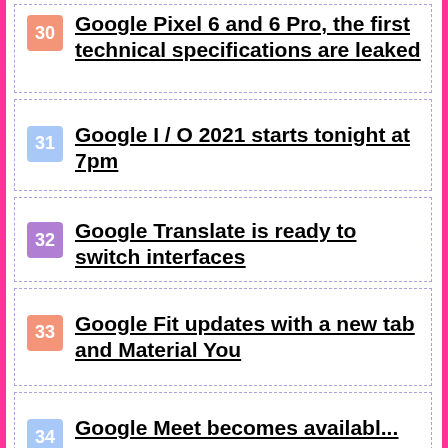30 Google Pixel 6 and 6 Pro, the first technical specifications are leaked
31 Google I / O 2021 starts tonight at 7pm
32 Google Translate is ready to switch interfaces
33 Google Fit updates with a new tab and Material You
34 Google Meet becomes available...